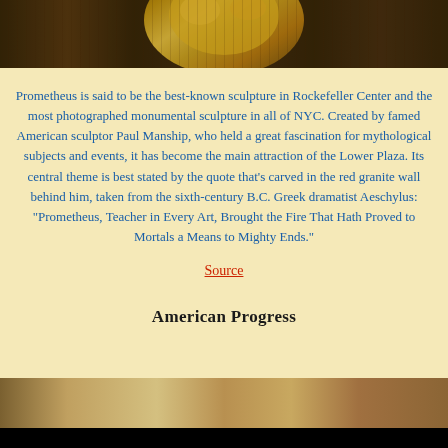[Figure (photo): Top portion of a golden sculpture, likely the Prometheus statue at Rockefeller Center, with golden metallic tones and vertical striped background]
Prometheus is said to be the best-known sculpture in Rockefeller Center and the most photographed monumental sculpture in all of NYC. Created by famed American sculptor Paul Manship, who held a great fascination for mythological subjects and events, it has become the main attraction of the Lower Plaza. Its central theme is best stated by the quote that’s carved in the red granite wall behind him, taken from the sixth-century B.C. Greek dramatist Aeschylus: “Prometheus, Teacher in Every Art, Brought the Fire That Hath Proved to Mortals a Means to Mighty Ends.”
Source
American Progress
[Figure (photo): Bottom portion showing a mural or artwork depicting figures in motion, with sepia/golden tones showing what appears to be American Progress artwork]